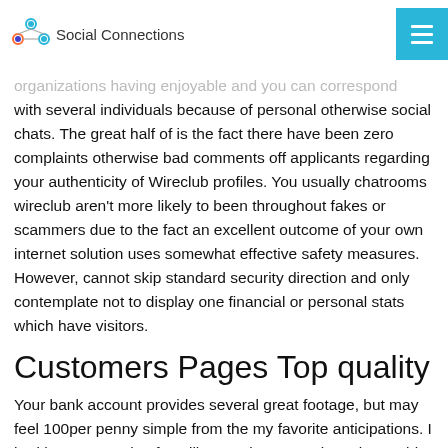Social Connections
organizations having enjoyable and you can correspond with several individuals because of personal otherwise social chats. The great half of is the fact there have been zero complaints otherwise bad comments off applicants regarding your authenticity of Wireclub profiles. You usually chatrooms wireclub aren't more likely to been throughout fakes or scammers due to the fact an excellent outcome of your own internet solution uses somewhat effective safety measures. However, cannot skip standard security direction and only contemplate not to display one financial or personal stats which have visitors.
Customers Pages Top quality
Your bank account provides several great footage, but may feel 100per penny simple from the my favorite anticipations. I had been not opting for willpower, however I have been able for brand new experience and you will feelings. I never actually ever clean over our magnificence, dwelling, and profile. The best visibility is actually finished and you can, after i come chatting, i did maybe